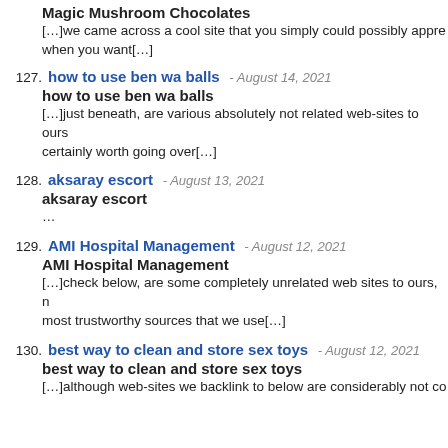Magic Mushroom Chocolates - [...] we came across a cool site that you simply could possibly appre when you want[...]
127. how to use ben wa balls - August 14, 2021 - how to use ben wa balls - [...]just beneath, are various absolutely not related web-sites to ours certainly worth going over[...]
128. aksaray escort - August 13, 2021 - aksaray escort - ...
129. AMI Hospital Management - August 12, 2021 - AMI Hospital Management - [...]check below, are some completely unrelated web sites to ours, most trustworthy sources that we use[...]
130. best way to clean and store sex toys - August 12, 2021 - best way to clean and store sex toys - [...]although web-sites we backlink to below are considerably not co